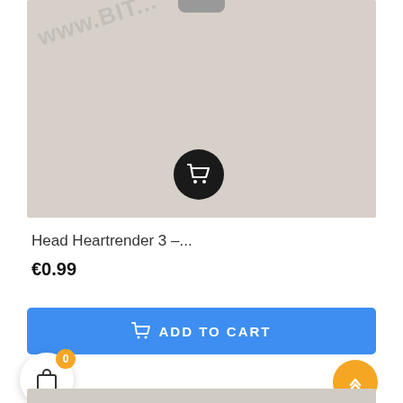[Figure (photo): Product photo with watermark 'www.BIT...' on a gray background, with a dark circle cart button overlay in the center-bottom of the image. A small shape is visible at the top center suggesting a product.]
Head Heartrender 3 –...
€0.99
ADD TO CART